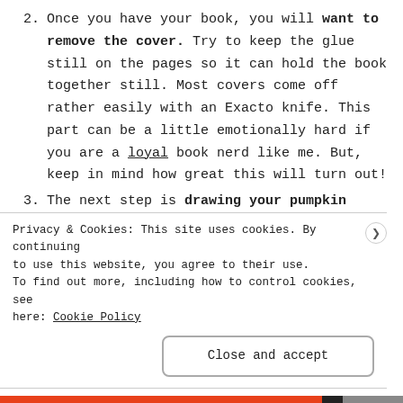2. Once you have your book, you will want to remove the cover. Try to keep the glue still on the pages so it can hold the book together still. Most covers come off rather easily with an Exacto knife. This part can be a little emotionally hard if you are a loyal book nerd like me. But, keep in mind how great this will turn out!
3. The next step is drawing your pumpkin shape. You will want to use a pencil and drawing addition of something (cut off)
Privacy & Cookies: This site uses cookies. By continuing to use this website, you agree to their use. To find out more, including how to control cookies, see here: Cookie Policy
Close and accept